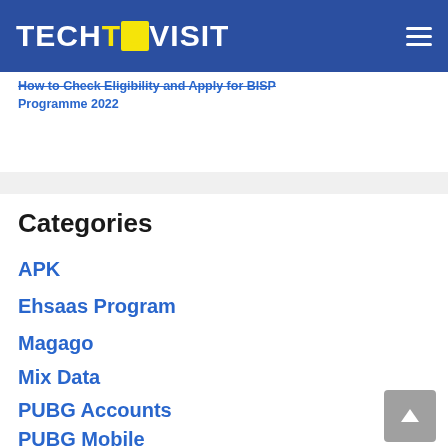TECHTOVISIT
How to Check Eligibility and Apply for BISP Programme 2022
Categories
APK
Ehsaas Program
Magago
Mix Data
PUBG Accounts
PUBG Mobile